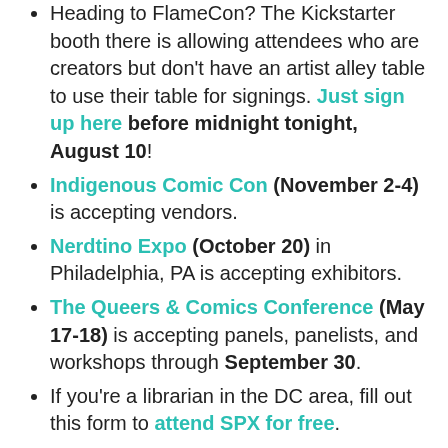Heading to FlameCon? The Kickstarter booth there is allowing attendees who are creators but don't have an artist alley table to use their table for signings. Just sign up here before midnight tonight, August 10!
Indigenous Comic Con (November 2-4) is accepting vendors.
Nerdtino Expo (October 20) in Philadelphia, PA is accepting exhibitors.
The Queers & Comics Conference (May 17-18) is accepting panels, panelists, and workshops through September 30.
If you're a librarian in the DC area, fill out this form to attend SPX for free.
TCAF is accepting applications to its